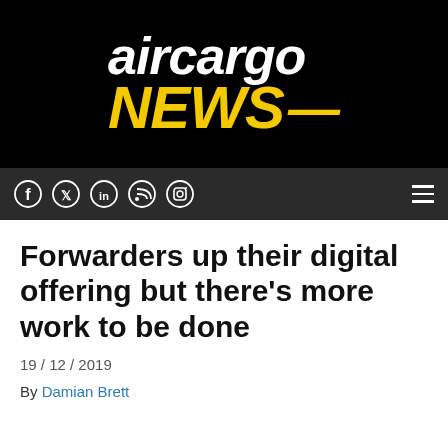[Figure (logo): Air Cargo News logo: 'aircargo' in white italic bold text above 'NEWS' in yellow/gold italic bold text, on black background]
Navigation bar with social media icons (Facebook, Twitter, LinkedIn, RSS, Instagram) and hamburger menu
Forwarders up their digital offering but there's more work to be done
19 / 12 / 2019
By Damian Brett